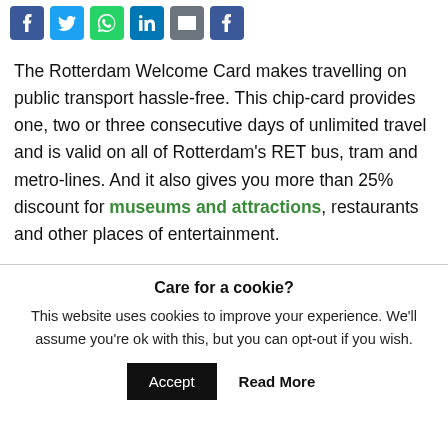[Figure (other): Row of social sharing icon buttons: Facebook (blue), Twitter (blue), WhatsApp (green), LinkedIn (blue), Email (grey), Facebook (blue)]
The Rotterdam Welcome Card makes travelling on public transport hassle-free. This chip-card provides one, two or three consecutive days of unlimited travel and is valid on all of Rotterdam's RET bus, tram and metro-lines. And it also gives you more than 25% discount for museums and attractions, restaurants and other places of entertainment.
Care for a cookie?
This website uses cookies to improve your experience. We'll assume you're ok with this, but you can opt-out if you wish.
Accept   Read More